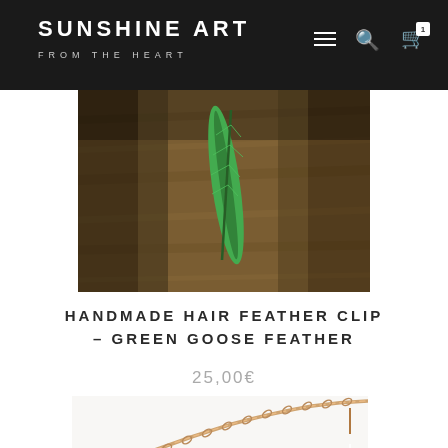SUNSHINE ART FROM THE HEART
[Figure (photo): Green goose feather on a rough wooden log surface with sunlight.]
HANDMADE HAIR FEATHER CLIP – GREEN GOOSE FEATHER
25,00€
[Figure (photo): Close-up of a gold chain necklace with a dark charm pendant on white background.]